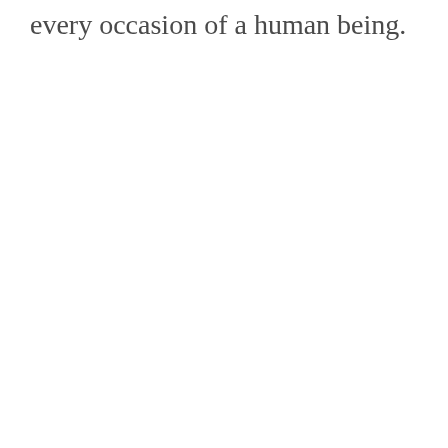every occasion of a human being.